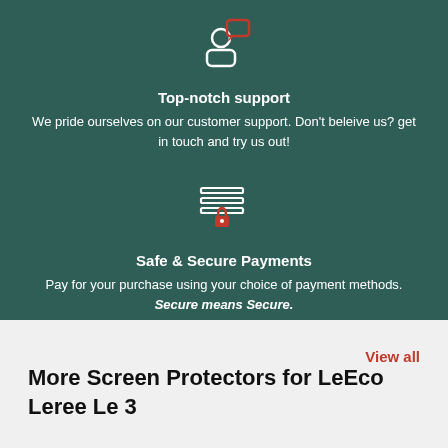[Figure (illustration): Icon of a person with a chat/message bubble, outline style in white with a red speech bubble, on dark teal background]
Top-notch support
We pride ourselves on our customer support. Don't beleive us? get in touch and try us out!
[Figure (illustration): Icon of a credit card with a padlock, outline style in white with a red lock, on dark teal background]
Safe & Secure Payments
Pay for your purchase using your choice of payment methods. Secure means Secure.
More Screen Protectors for LeEco Leree Le 3
View all